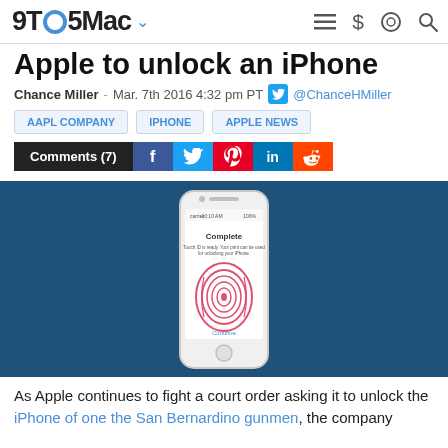9TO5Mac navigation bar
Apple to unlock an iPhone
Chance Miller - Mar. 7th 2016 4:32 pm PT @ChanceHMiller
AAPL COMPANY
IPHONE
APPLE NEWS
Comments (7)
[Figure (screenshot): iPhone showing Touch ID fingerprint enrollment completion screen on a dark blue background, with the message 'Complete - Touch ID is ready. Your print can be used for unlocking your iPhone.' and a red fingerprint graphic.]
As Apple continues to fight a court order asking it to unlock the iPhone of one the San Bernardino gunmen, the company